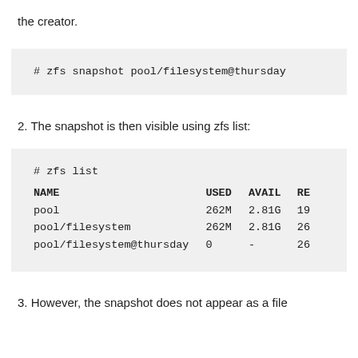the creator.
[Figure (screenshot): Code block showing: # zfs snapshot pool/filesystem@thursday]
2. The snapshot is then visible using zfs list:
[Figure (screenshot): Code block showing zfs list output with columns NAME, USED, AVAIL, RE and rows for pool, pool/filesystem, pool/filesystem@thursday]
3. However, the snapshot does not appear as a file